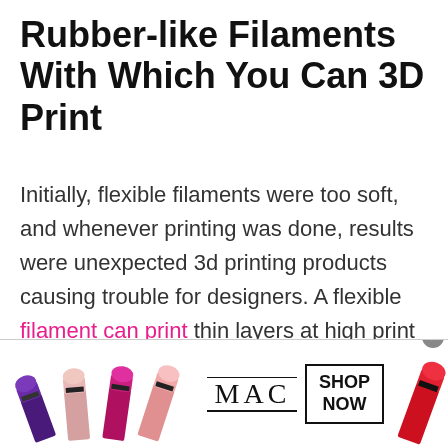Rubber-like Filaments With Which You Can 3D Print
Initially, flexible filaments were too soft, and whenever printing was done, results were unexpected 3d printing products causing trouble for designers. A flexible filament can print thin layers at high print speed.
[Figure (photo): Advertisement banner for MAC cosmetics showing lipsticks in purple, pink, and red, MAC logo, and a 'SHOP NOW' button]